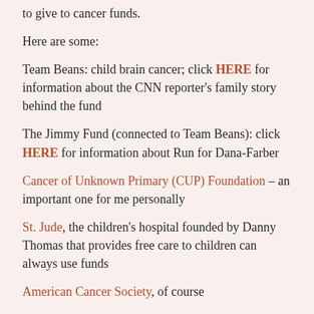to give to cancer funds.
Here are some:
Team Beans: child brain cancer; click HERE for information about the CNN reporter's family story behind the fund
The Jimmy Fund (connected to Team Beans): click HERE for information about Run for Dana-Farber
Cancer of Unknown Primary (CUP) Foundation – an important one for me personally
St. Jude, the children's hospital founded by Danny Thomas that provides free care to children can always use funds
American Cancer Society, of course
There are MANY more funds and foundations in need of donations. Just do a search for the kind of cancer or the kind of support you wish to make and the word, donate. You will find many opportunities. And know what? Even $1 helps